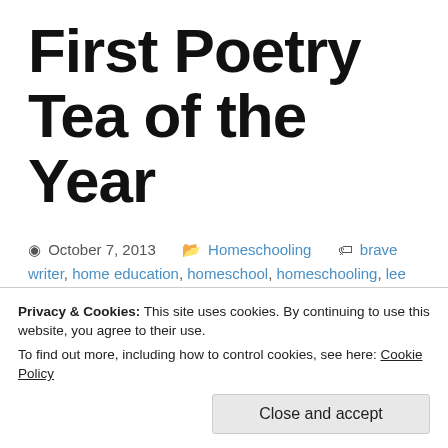First Poetry Tea of the Year
October 7, 2013   Homeschooling   brave writer, home education, homeschool, homeschooling, lee bennett hopkins, poetry, poetry books, poetry tea
Since we took our break in September we have only just
Privacy & Cookies: This site uses cookies. By continuing to use this website, you agree to their use. To find out more, including how to control cookies, see here: Cookie Policy
Close and accept